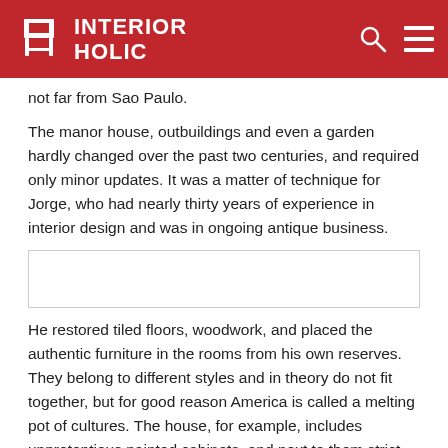INTERIOR HOLIC
not far from Sao Paulo.
The manor house, outbuildings and even a garden hardly changed over the past two centuries, and required only minor updates. It was a matter of technique for Jorge, who had nearly thirty years of experience in interior design and was in ongoing antique business.
[Figure (other): Advertisement or placeholder box]
He restored tiled floors, woodwork, and placed the authentic furniture in the rooms from his own reserves. They belong to different styles and in theory do not fit together, but for good reason America is called a melting pot of cultures. The house, for example, includes unpretentious painted cabinets, and next to them strict Ampire tables, elegant baroque chandeliers and dressers.